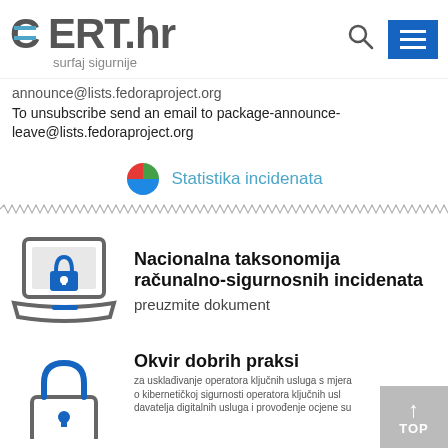CERT.hr surfaj sigurnije
announce@lists.fedoraproject.org
To unsubscribe send an email to package-announce-leave@lists.fedoraproject.org
[Figure (logo): Pie chart icon next to 'Statistika incidenata' link]
Statistika incidenata
[Figure (illustration): Laptop with blue padlock icon]
Nacionalna taksonomija računalno-sigurnosnih incidenata
preuzmite dokument
[Figure (illustration): Blue padlock icon]
Okvir dobrih praksi
za usklađivanje operatora ključnih usluga s mjera o kibernetičkoj sigurnosti operatora ključnih usl davatelja digitalnih usluga i provođenje ocjene su